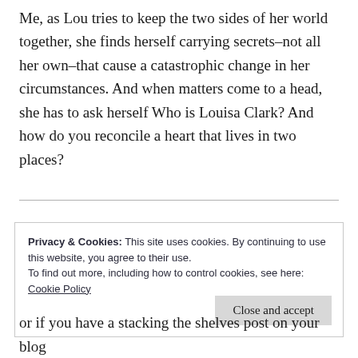Me, as Lou tries to keep the two sides of her world together, she finds herself carrying secrets–not all her own–that cause a catastrophic change in her circumstances. And when matters come to a head, she has to ask herself Who is Louisa Clark? And how do you reconcile a heart that lives in two places?
Privacy & Cookies: This site uses cookies. By continuing to use this website, you agree to their use.
To find out more, including how to control cookies, see here:
Cookie Policy
Close and accept
or if you have a stacking the shelves post on your blog